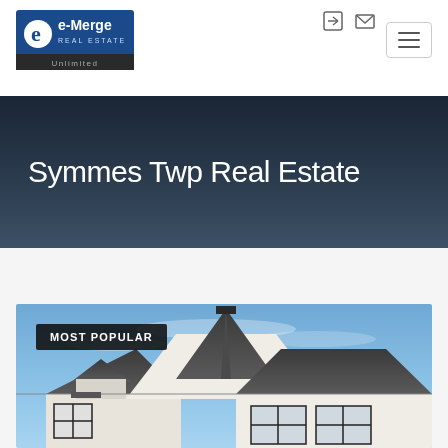[Figure (logo): e-Merge Real Estate Unlimited logo — white 'e' letter mark on blue background with 'e-Merge REAL ESTATE' and 'Unlimited' text]
[Figure (infographic): Top-right navigation icons: login/user icon and envelope/mail icon]
[Figure (infographic): Hamburger menu button (three horizontal lines) in a bordered rectangle, top right]
Symmes Twp Real Estate
[Figure (photo): Exterior photo of a white brick house with dark shingled roof and black-framed windows under a blue sky, with a 'MOST POPULAR' badge overlay in the top-left corner]